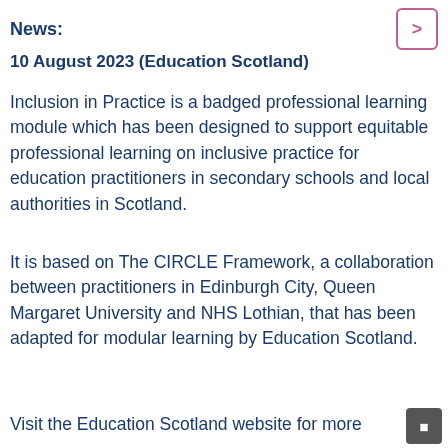News:
10 August 2023 (Education Scotland)
Inclusion in Practice is a badged professional learning module which has been designed to support equitable professional learning on inclusive practice for education practitioners in secondary schools and local authorities in Scotland.
It is based on The CIRCLE Framework, a collaboration between practitioners in Edinburgh City, Queen Margaret University and NHS Lothian, that has been adapted for modular learning by Education Scotland.
Visit the Education Scotland website for more